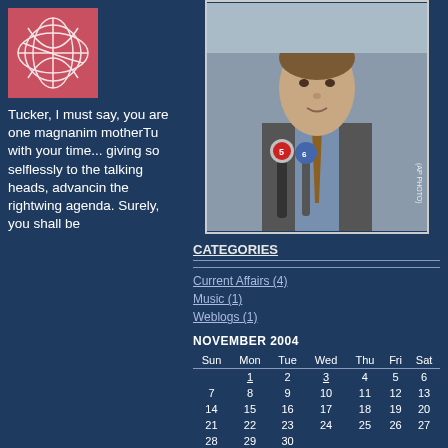[Figure (illustration): Red/pink logo with white decorative swirl lines]
Tucker, I must say, you are one magnanim motherTu with your time... giving so selflessly to the talking heads, advancin the rightwing agenda. Surely, you shall be
[Figure (photo): Man in suit speaking at press conference with microphones, AP Photo watermark]
CATEGORIES
Current Affairs (4)
Music (1)
Weblogs (1)
NOVEMBER 2004
| Sun | Mon | Tue | Wed | Thu | Fri | Sat |
| --- | --- | --- | --- | --- | --- | --- |
|  | 1 | 2 | 3 | 4 | 5 | 6 |
| 7 | 8 | 9 | 10 | 11 | 12 | 13 |
| 14 | 15 | 16 | 17 | 18 | 19 | 20 |
| 21 | 22 | 23 | 24 | 25 | 26 | 27 |
| 28 | 29 | 30 |  |  |  |  |